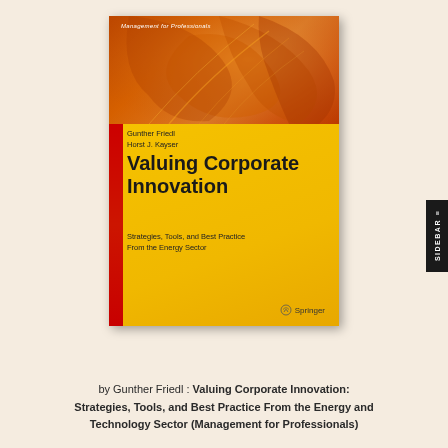[Figure (illustration): Book cover of 'Valuing Corporate Innovation: Strategies, Tools, and Best Practice From the Energy Sector' by Gunther Friedl and Horst J. Kayser, published by Springer. Part of the Management for Professionals series. Cover features an orange turbine photo on top and a yellow background on the lower portion with a red accent bar on the left side.]
by Gunther Friedl : Valuing Corporate Innovation: Strategies, Tools, and Best Practice From the Energy and Technology Sector (Management for Professionals)